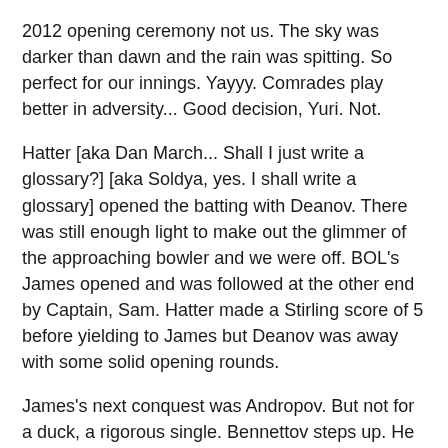2012 opening ceremony not us. The sky was darker than dawn and the rain was spitting. So perfect for our innings. Yayyy. Comrades play better in adversity... Good decision, Yuri. Not.
Hatter [aka Dan March... Shall I just write a glossary?] [aka Soldya, yes. I shall write a glossary] opened the batting with Deanov. There was still enough light to make out the glimmer of the approaching bowler and we were off. BOL's James opened and was followed at the other end by Captain, Sam. Hatter made a Stirling score of 5 before yielding to James but Deanov was away with some solid opening rounds.
James's next conquest was Andropov. But not for a duck, a rigorous single. Bennettov steps up. He has all of the demeanour of a fine collective adjutant and as such, settled in for a bloody good knock. Despite spells Nicole and Rob, Bennettov got his 25 and was retired to Nib Nib Chipmonkski in. A fine 4 before tempted into LBW off The Cobra, SCC's Cobramovich.